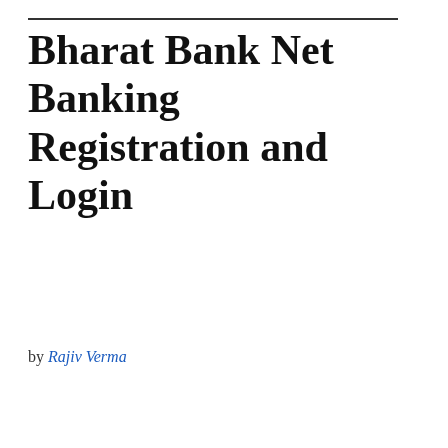Bharat Bank Net Banking Registration and Login
by Rajiv Verma